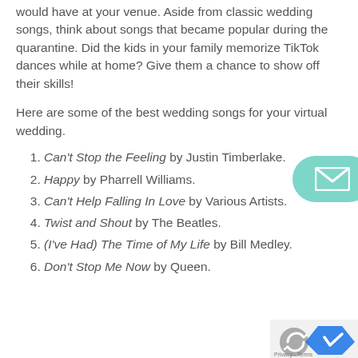would have at your venue. Aside from classic wedding songs, think about songs that became popular during the quarantine. Did the kids in your family memorize TikTok dances while at home? Give them a chance to show off their skills!
Here are some of the best wedding songs for your virtual wedding.
Can't Stop the Feeling by Justin Timberlake.
Happy by Pharrell Williams.
Can't Help Falling In Love by Various Artists.
Twist and Shout by The Beatles.
(I've Had) The Time of My Life by Bill Medley.
Don't Stop Me Now by Queen.